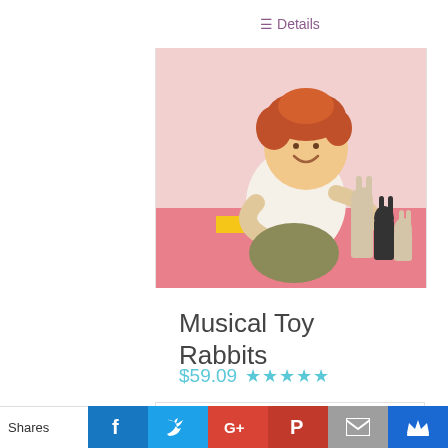≡ Details
[Figure (photo): A young child with curly red hair sitting on colorful mats, pointing at small toy rabbits]
Musical Toy Rabbits
$59.09 ★★★★★
🛒 Add to   ≡ Details
Shares